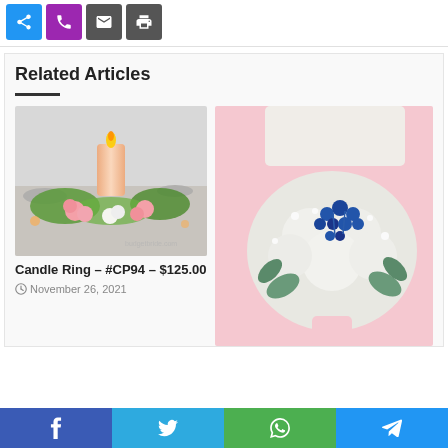[Figure (other): Row of social/action icon buttons: blue share button, purple phone button, dark email button, dark print button]
Related Articles
[Figure (photo): Photo of candle ring floral centerpiece with pink roses, white flowers, and green foliage around a pillar candle on a table setting]
Candle Ring – #CP94 – $125.00
November 26, 2021
[Figure (photo): Photo of a bridal bouquet with white hydrangeas, baby's breath, blue berries/viburnum, and eucalyptus leaves held by a person in a pink dress]
[Figure (other): Social share bar with Facebook, Twitter, WhatsApp, and Telegram buttons]